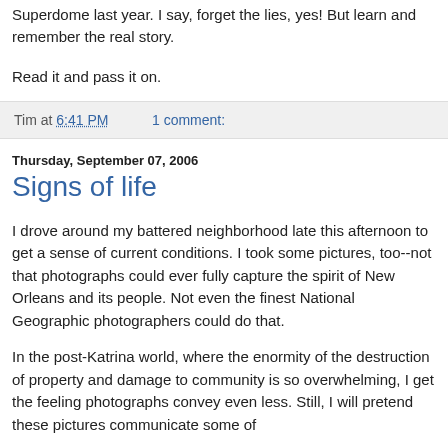Superdome last year. I say, forget the lies, yes! But learn and remember the real story.
Read it and pass it on.
Tim at 6:41 PM    1 comment:
Thursday, September 07, 2006
Signs of life
I drove around my battered neighborhood late this afternoon to get a sense of current conditions. I took some pictures, too--not that photographs could ever fully capture the spirit of New Orleans and its people. Not even the finest National Geographic photographers could do that.
In the post-Katrina world, where the enormity of the destruction of property and damage to community is so overwhelming, I get the feeling photographs convey even less. Still, I will pretend these pictures communicate some of